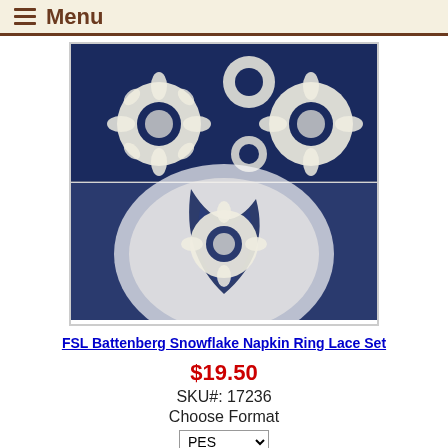Menu
[Figure (photo): Two photos of FSL Battenberg Snowflake Napkin Rings on navy blue fabric/plate setting]
FSL Battenberg Snowflake Napkin Ring Lace Set
$19.50
SKU#: 17236
Choose Format
PES
Add to Cart